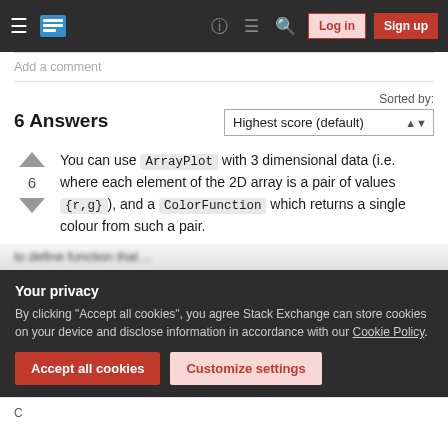Stack Exchange navigation bar with hamburger menu, logo, help, chat, search icons, Log in and Sign up buttons
Add a comment
6 Answers
Sorted by: Highest score (default)
You can use ArrayPlot with 3 dimensional data (i.e. where each element of the 2D array is a pair of values {r,g}), and a ColorFunction which returns a single colour from such a pair.
Your privacy
By clicking "Accept all cookies", you agree Stack Exchange can store cookies on your device and disclose information in accordance with our Cookie Policy.
Accept all cookies   Customize settings